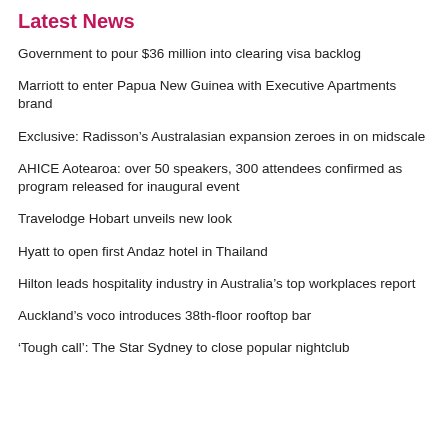Latest News
Government to pour $36 million into clearing visa backlog
Marriott to enter Papua New Guinea with Executive Apartments brand
Exclusive: Radisson’s Australasian expansion zeroes in on midscale
AHICE Aotearoa: over 50 speakers, 300 attendees confirmed as program released for inaugural event
Travelodge Hobart unveils new look
Hyatt to open first Andaz hotel in Thailand
Hilton leads hospitality industry in Australia’s top workplaces report
Auckland’s voco introduces 38th-floor rooftop bar
‘Tough call’: The Star Sydney to close popular nightclub